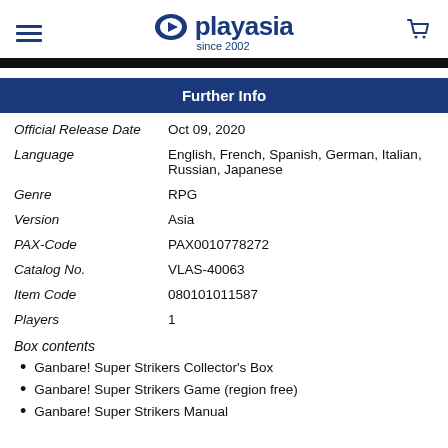playasia since 2002
Further Info
| Field | Value |
| --- | --- |
| Official Release Date | Oct 09, 2020 |
| Language | English, French, Spanish, German, Italian, Russian, Japanese |
| Genre | RPG |
| Version | Asia |
| PAX-Code | PAX0010778272 |
| Catalog No. | VLAS-40063 |
| Item Code | 080101011587 |
| Players | 1 |
Box contents
Ganbare! Super Strikers Collector's Box
Ganbare! Super Strikers Game (region free)
Ganbare! Super Strikers Manual